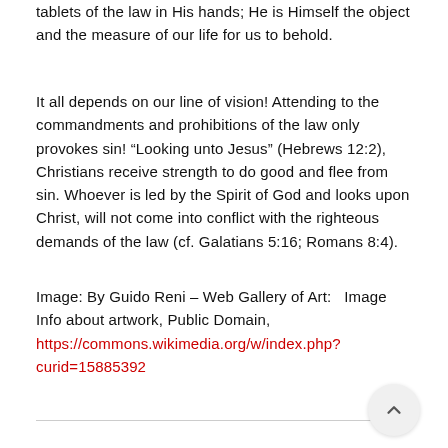tablets of the law in His hands; He is Himself the object and the measure of our life for us to behold.
It all depends on our line of vision! Attending to the commandments and prohibitions of the law only provokes sin! “Looking unto Jesus” (Hebrews 12:2), Christians receive strength to do good and flee from sin. Whoever is led by the Spirit of God and looks upon Christ, will not come into conflict with the righteous demands of the law (cf. Galatians 5:16; Romans 8:4).
Image: By Guido Reni – Web Gallery of Art:   Image Info about artwork, Public Domain, https://commons.wikimedia.org/w/index.php?curid=15885392